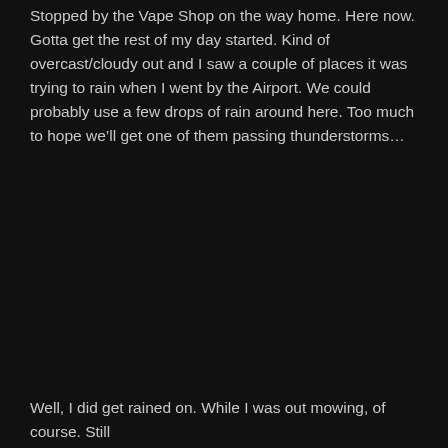Stopped by the Vape Shop on the way home. Here now. Gotta get the rest of my day started. Kind of overcast/cloudy out and I saw a couple of places it was trying to rain when I went by the Airport. We could probably use a few drops of rain around here. Too much to hope we’ll get one of them passing thunderstorms…
Well, I did get rained on. While I was out mowing, of course. Still